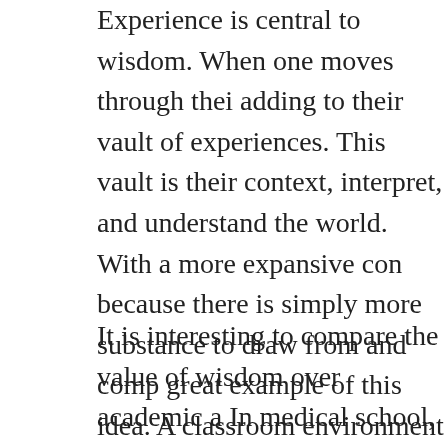Experience is central to wisdom. When one moves through their adding to their vault of experiences. This vault is their context, interpret, and understand the world. With a more expansive con because there is simply more substance to draw from and comp great example of this idea. A classroom environment is conduci factual knowledge, creative ideas, and constructive analysis, bu wisdom on a subject when they test out this system in the worl their previous knowledge of something is not as concretely refl thought. Through this realization, the individual is forced to ope had previously been consciously or unconsciously one-sided on from certainty without experience, to doubt with experience, an one can reach a greater, more complete stage of intelligence.
It is interesting to compare the value of wisdom over academic In medical school, a student studying to become a surgeon lear about anatomy, biology, neurology, etc., but there is no simple performing surgery. They must observe and apprentice for a lon able to lead a surgery. Hence, doctors must go through the proc student that graduates at the top of their med school class may d